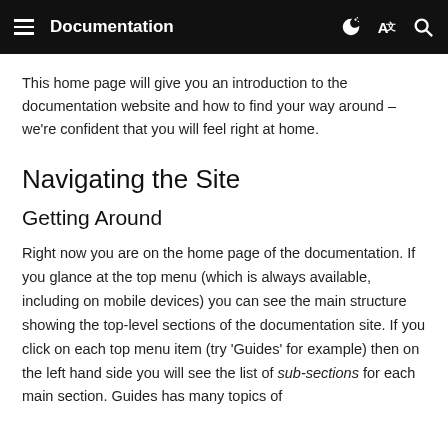Documentation
This home page will give you an introduction to the documentation website and how to find your way around – we're confident that you will feel right at home.
Navigating the Site
Getting Around
Right now you are on the home page of the documentation. If you glance at the top menu (which is always available, including on mobile devices) you can see the main structure showing the top-level sections of the documentation site. If you click on each top menu item (try 'Guides' for example) then on the left hand side you will see the list of sub-sections for each main section. Guides has many topics of